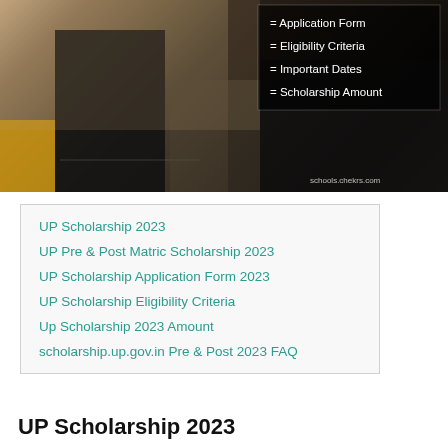[Figure (photo): Students in a classroom studying, with an overlay box listing: Application Form, Eligibility Criteria, Important Dates, Scholarship Amount. Watermark: schools.chekrs.com]
UP Scholarship 2023
UP Pre & Post Matric Scholarship 2023
UP Scholarship Application Form 2023
UP Scholarship Eligibility Criteria
Up Scholarship 2023 Amount
scholarship.up.gov.in Pre & Post 2023 FAQ
UP Scholarship 2023